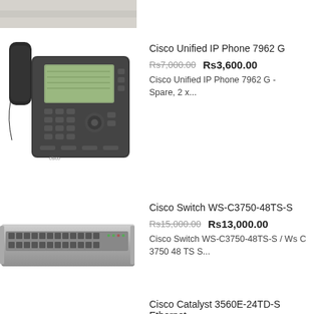[Figure (photo): Partial view of a product image at top of page (cropped)]
[Figure (photo): Cisco Unified IP Phone 7962 G - a dark grey desk phone with display screen and keypad]
Cisco Unified IP Phone 7962 G
Rs7,000.00  Rs3,600.00
Cisco Unified IP Phone 7962 G - Spare, 2 x...
[Figure (photo): Cisco Switch WS-C3750-48TS-S - a rack-mount network switch with multiple ports]
Cisco Switch WS-C3750-48TS-S
Rs15,000.00  Rs13,000.00
Cisco Switch WS-C3750-48TS-S / Ws C 3750 48 TS S...
Cisco Catalyst 3560E-24TD-S Ethernet